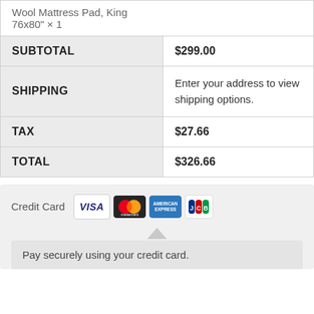|  |  |
| --- | --- |
| Wool Mattress Pad, King 76x80" × 1 |  |
| SUBTOTAL | $299.00 |
| SHIPPING | Enter your address to view shipping options. |
| TAX | $27.66 |
| TOTAL | $326.66 |
Credit Card
[Figure (other): Payment method logos: VISA, Mastercard, American Express, JCB]
Pay securely using your credit card.